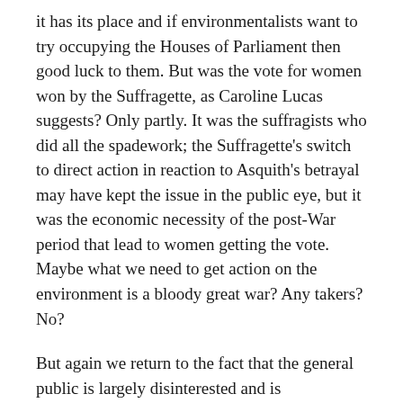it has its place and if environmentalists want to try occupying the Houses of Parliament then good luck to them. But was the vote for women won by the Suffragette, as Caroline Lucas suggests? Only partly. It was the suffragists who did all the spadework; the Suffragette's switch to direct action in reaction to Asquith's betrayal may have kept the issue in the public eye, but it was the economic necessity of the post-War period that lead to women getting the vote. Maybe what we need to get action on the environment is a bloody great war? Any takers? No?
But again we return to the fact that the general public is largely disinterested and is resoundingly hostile to any meaningful action that might affect them. Direct action can raise awareness but ultimately, on this issue, it has thus far resoundingly failed to change hearts and minds in sufficient numbers. Direct action can't affect a paradigm shift, it can only give voice to something that is already there.